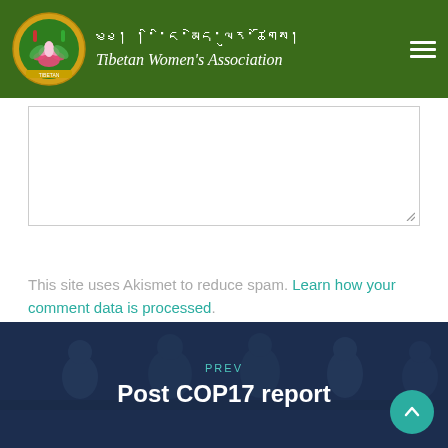Tibetan Women's Association
[Figure (screenshot): Empty textarea/comment input box with resize handle in bottom right corner]
This site uses Akismet to reduce spam. Learn how your comment data is processed.
[Figure (photo): Dark blue navigation block showing people seated at a panel, with 'PREV' label and title 'Post COP17 report' overlaid. A teal scroll-to-top button is in the bottom right.]